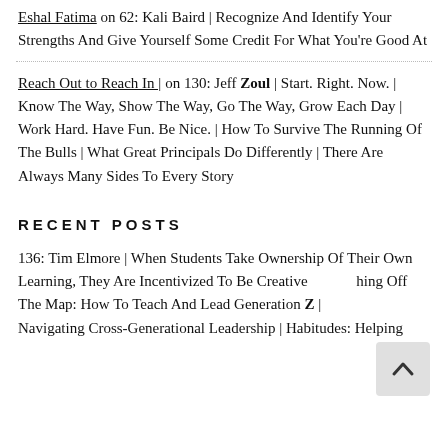Eshal Fatima on 62: Kali Baird | Recognize And Identify Your Strengths And Give Yourself Some Credit For What You're Good At
Reach Out to Reach In | on 130: Jeff Zoul | Start. Right. Now. | Know The Way, Show The Way, Go The Way, Grow Each Day | Work Hard. Have Fun. Be Nice. | How To Survive The Running Of The Bulls | What Great Principals Do Differently | There Are Always Many Sides To Every Story
RECENT POSTS
136: Tim Elmore | When Students Take Ownership Of Their Own Learning, They Are Incentivized To Be Creative | Teaching Off The Map: How To Teach And Lead Generation Z | Navigating Cross-Generational Leadership | Habitudes: Helping